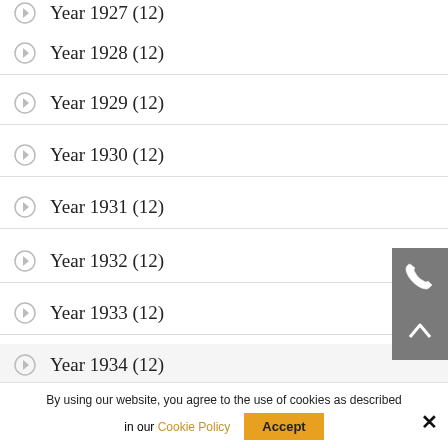Year 1927 (12)
Year 1928 (12)
Year 1929 (12)
Year 1930 (12)
Year 1931 (12)
Year 1932 (12)
Year 1933 (12)
Year 1934 (12)
By using our website, you agree to the use of cookies as described in our Cookie Policy
Accept